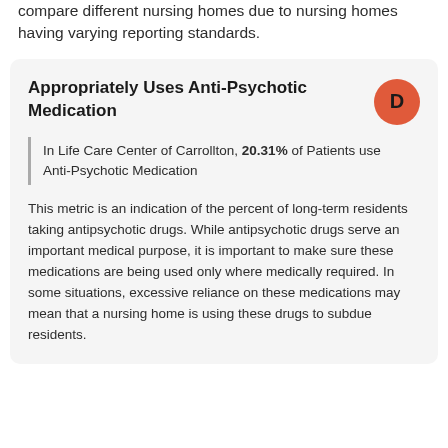compare different nursing homes due to nursing homes having varying reporting standards.
Appropriately Uses Anti-Psychotic Medication
In Life Care Center of Carrollton, 20.31% of Patients use Anti-Psychotic Medication
This metric is an indication of the percent of long-term residents taking antipsychotic drugs. While antipsychotic drugs serve an important medical purpose, it is important to make sure these medications are being used only where medically required. In some situations, excessive reliance on these medications may mean that a nursing home is using these drugs to subdue residents.